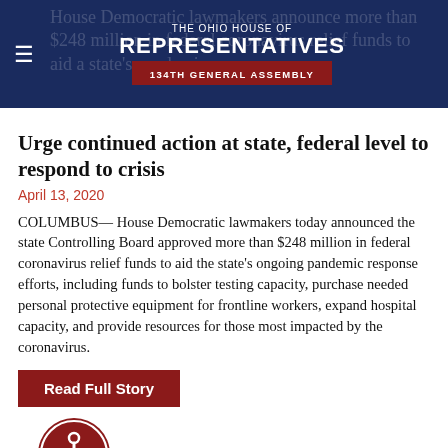THE OHIO HOUSE OF REPRESENTATIVES 134TH GENERAL ASSEMBLY
Urge continued action at state, federal level to respond to crisis
April 13, 2020
COLUMBUS— House Democratic lawmakers today announced the state Controlling Board approved more than $248 million in federal coronavirus relief funds to aid the state's ongoing pandemic response efforts, including funds to bolster testing capacity, purchase needed personal protective equipment for frontline workers, expand hospital capacity, and provide resources for those most impacted by the coronavirus.
Read Full Story
[Figure (other): Accessibility icon — circular icon with stylized person figure in white on dark red background]
OBMHC recognizes Black Maternal Health Week